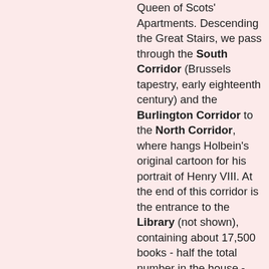Queen of Scots' Apartments. Descending the Great Stairs, we pass through the South Corridor (Brussels tapestry, early eighteenth century) and the Burlington Corridor to the North Corridor, where hangs Holbein's original cartoon for his portrait of Henry VIII. At the end of this corridor is the entrance to the Library (not shown), containing about 17,500 books - half the total number in the house - many of great rarity and value, besides a large collection of early prints and drawings. In the Lobby behind the Oak Stairs, through which we enter the modern wing, will be seen a carved lace cravat and medallion portrait, said to be the work of Grinling Gibbons